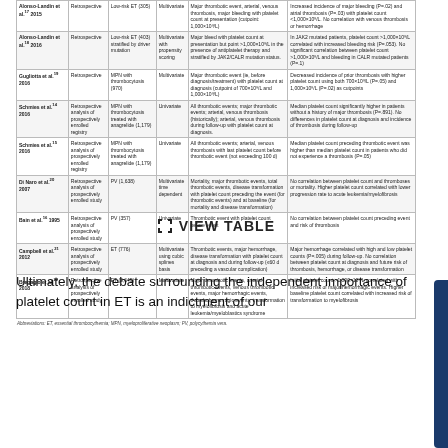| Author/Year | Study Design | Study Population | Analysis | Outcome Studied | Main Findings |
| --- | --- | --- | --- | --- | --- |
| Alonso-Landin et al.17 2015 | Retrospective | Low-risk ET (305) | Multivariate | Major thrombotic event, arterial, venous thrombosis, major bleeding with platelet count at presentation (cutpoint: 800×10⁹/L) | Increased incidence of major bleeding (P=.02) with platelet count <800×10⁹/L. No correlation with total, arterial, or venous thromboses |
| Alonso-Landin et al.18 2016 | Retrospective | Low-risk ET (403) stratified by driver mutation | Multivariate with propensity scoring | Major bleed with platelet count at presentation but point >1,000×10⁹/L in the presence of antiplatelet therapy and stratified by JAK2/CALR mutation status. | In JAK2 mutated patients, platelet count >1,000×10⁹/L correlated with increased bleeding risk (P=.053). No significant correlation between platelet count >1,000×10⁹/L and bleeding in CALR mutated patients (P=.1) |
| Gugliotta et al.19 2016 | Retrospective | MPN with thrombocytosis (970) | Multivariate | Major thrombotic event (ie, before diagnosis/treatment) with platelet count at diagnosis (cutpoint of 700×10⁹/L and 1,000×10⁹/L) | Decreased incidence of prior thrombosis with higher platelet count using both 700×10⁹/L (P=.05) and 1,000×10⁹/L (P=.02) as cutpoints |
| Schmies et al.14 2016 | Retrospective analysis of prospectively enrolled registry | MPN with thrombocytosis treated with anagrelide (1,179) | Univariate | All thrombotic events; major thrombotic events; arterial, venous thrombosis (historically); arterial, venous thrombosis during follow-up with platelet count at diagnosis. | Median platelet count significantly higher in patients without a history of major thrombosis (P=.891). No differences in platelet count at diagnosis and incidence of thrombosis during follow-up |
| Schmies et al.15 2016 | Retrospective analysis of prospectively enrolled registry | MPN with thrombocytosis treated with anagrelide (1,179) | Univariate | All thrombotic events; arterial, venous thrombosis with last platelet count before thrombotic event (not exceeding 100 d) | Median platelet count preceding thrombotic event was higher than median platelet count in patients who did not experience a thrombosis (P=.05) |
| Di Naro et al.20 2007 | Retrospective analysis of prospectively enrolled study | PV (1,638) | Multivariate time dependent | Mortality, major thrombotic events, total thrombotic events, disease transformation with platelet count preceding the event (for thrombotic events) and at baseline (for mortality and disease transformation) | No correlation between platelet count and thromboses or mortality. Higher platelet count correlated with lower progression rate to acute leukemia/myelofibrosis |
| Bain et al.16 1995 | Retrospective analysis of prospectively enrolled study | PV (357) | Univariate | Thrombotic event with platelet count before event | No correlation between platelet count preceding event and risk of thrombosis |
| Campbell et al.21 2012 | Retrospective analysis of prospectively enrolled study | ET (776) | Multivariate using cubic splines basis | Thrombotic events, major hemorrhage, disease transformation with platelet count at diagnosis and during follow-up (≤60 d preceding a vascular complication) | Major hemorrhage correlated with high and low platelet counts (P=.005) during follow-up. No correlation between platelet count at diagnosis and future risk of thrombosis, hemorrhage, or disease transformation |
| Bregagio et al.22 2018 | Retrospective analysis of prospectively enrolled study | ET (3,649) | Multivariate | Major thrombotic events, arterial thrombotic events, venous thrombotic events, major hemorrhagic events, thrombohemorragic events, transformation to myelofibrosis and acute leukemia/myeloblastics syndrome | Initial platelet count >1,000×10⁹/L correlated with increased risk of major hemorrhagic events. Higher baseline platelet count correlated with increased risk of transformation to myelofibrosis |
Abbreviations: ET, essential thrombocythemia; MPN, myeloproliferative neoplasm; PV, polycythemia vera.
Ultimately, the debate surrounding the independent importance of platelet count in ET is an indictment of our